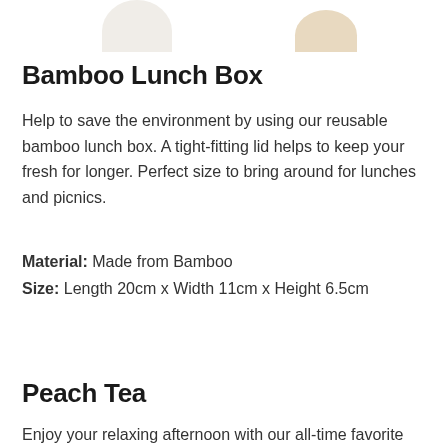[Figure (photo): Partial product images at top of page showing bamboo lunch box and another product, cropped at top]
Bamboo Lunch Box
Help to save the environment by using our reusable bamboo lunch box. A tight-fitting lid helps to keep your fresh for longer. Perfect size to bring around for lunches and picnics.
Material: Made from Bamboo
Size: Length 20cm x Width 11cm x Height 6.5cm
Peach Tea
Enjoy your relaxing afternoon with our all-time favorite